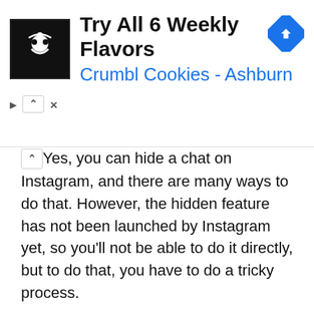[Figure (screenshot): Advertisement banner for Crumbl Cookies - Ashburn showing logo, title 'Try All 6 Weekly Flavors', subtitle 'Crumbl Cookies - Ashburn', and a blue diamond navigation arrow icon]
Yes, you can hide a chat on Instagram, and there are many ways to do that. However, the hidden feature has not been launched by Instagram yet, so you'll not be able to do it directly, but to do that, you have to do a tricky process.
Thus, you'll be able to hide a chat on Instagram very easily.
Why is there not a direct way to hide